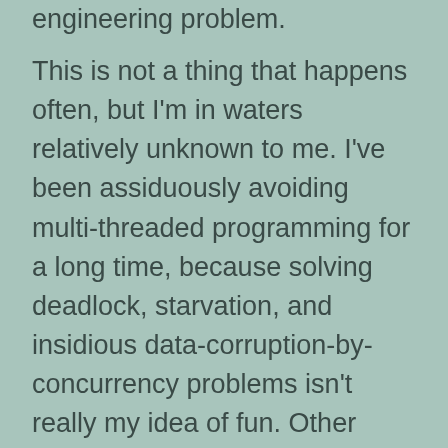engineering problem.
This is not a thing that happens often, but I'm in waters relatively unknown to me. I've been assiduously avoiding multi-threaded programming for a long time, because solving deadlock, starvation, and insidious data-corruption-by-concurrency problems isn't really my idea of fun. Other than one minor brush with it handling PPS signals in GPSD I've managed before this to avoid any thread-entanglement at all.
But I'm still trying to make cvs-fast-export run faster. About a week ago an Aussie hacker